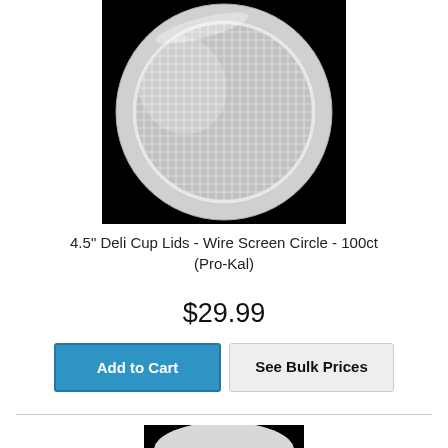[Figure (photo): Top-down view of a 4.5-inch round wire screen circle deli cup lid, silver/metallic mesh in a round aluminum rim, on a black background.]
4.5" Deli Cup Lids - Wire Screen Circle - 100ct (Pro-Kal)
$29.99
Add to Cart
See Bulk Prices